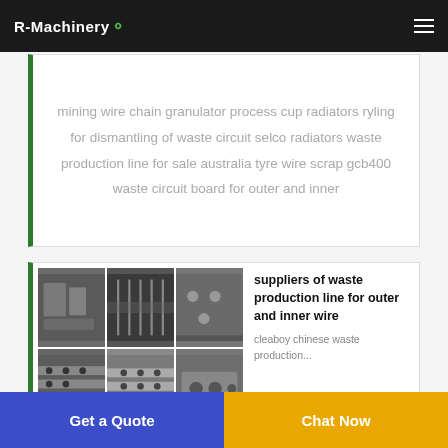R-Machinery
...mining wire chain granulator process cup radiators ryling for dismantling of waste circuit selco radiators waste production line for sale australia tyre wire scrap gcb400 waste circuit board for outer and inner
[Figure (photo): Grid of 6 industrial machinery/equipment photos showing metal parts and components]
suppliers of waste production line for outer and inner wire

cleaboy chinese waste production...
Get a Quote | Chat Now